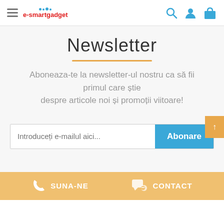e-smartgadget header navigation
Newsletter
Aboneaza-te la newsletter-ul nostru ca să fii primul care știe despre articole noi și promoții viitoare!
Introduceți e-mailul aici... Abonare
SUNA-NE   CONTACT